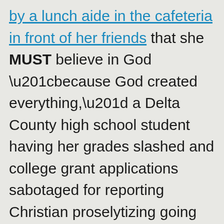by a lunch aide in the cafeteria in front of her friends that she MUST believe in God “because God created everything,” a Delta County high school student having her grades slashed and college grant applications sabotaged for reporting Christian proselytizing going on within the school system, Colorado Mesa University students having Gideon Bibles foisted on them as they